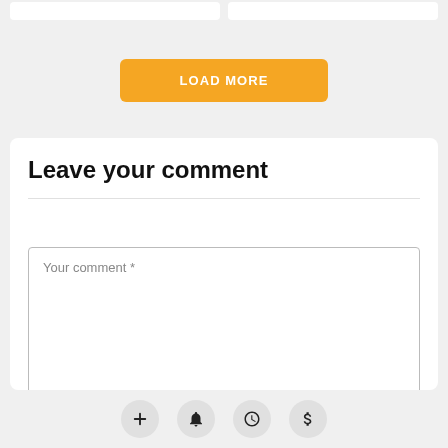[Figure (screenshot): Two white rounded input fields partially visible at the top of the page on a light gray background]
[Figure (screenshot): Orange 'LOAD MORE' button centered on light gray background]
Leave your comment
Your comment *
[Figure (screenshot): Bottom navigation bar with four circular icon buttons: plus, bell, clock, dollar sign]